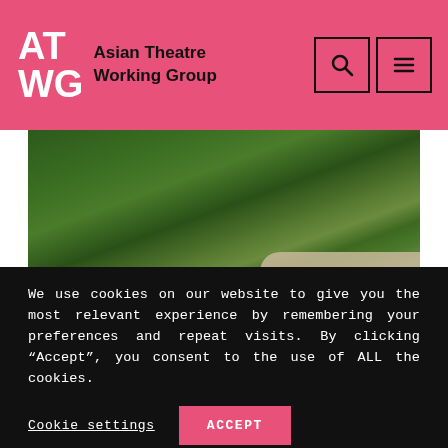[Figure (logo): ATWG Asian Theatre Working Group logo with pink/salmon background, white AT WG letters and dark text]
[Figure (photo): Aerial view of a canal with boats and colorful umbrellas surrounded by lush green trees, with a stone lion sculpture in the foreground right]
We use cookies on our website to give you the most relevant experience by remembering your preferences and repeat visits. By clicking “Accept”, you consent to the use of ALL the cookies.
Cookie settings
ACCEPT